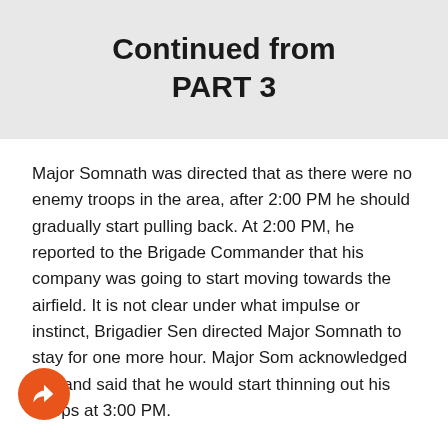Continued from PART 3
Major Somnath was directed that as there were no enemy troops in the area, after 2:00 PM he should gradually start pulling back. At 2:00 PM, he reported to the Brigade Commander that his company was going to start moving towards the airfield. It is not clear under what impulse or instinct, Brigadier Sen directed Major Somnath to stay for one more hour. Major Som acknowledged this and said that he would start thinning out his troops at 3:00 PM.
Neither Brigadier Sen nor Major Som had any idea of what was going to happen in the next half an hour. At 2:35 PM Major reported to Brigadier Sen that they were being shelled lightly from the village side. He also said that in order to save